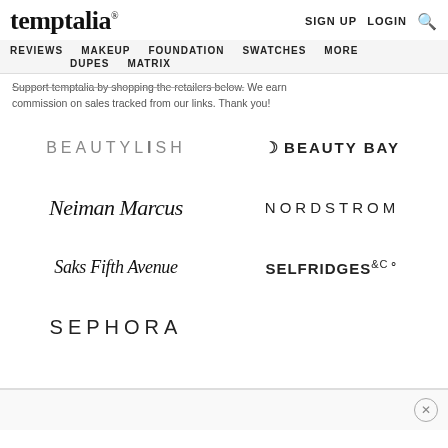temptalia® — SIGN UP  LOGIN  🔍
REVIEWS  MAKEUP  FOUNDATION  SWATCHES  MORE  DUPES  MATRIX
Support temptalia by shopping the retailers below. We earn commission on sales tracked from our links. Thank you!
[Figure (logo): BEAUTYLISH logo in grey uppercase letters with wide letter-spacing]
[Figure (logo): BEAUTY BAY logo in bold black uppercase letters with crescent moon icon]
[Figure (logo): Neiman Marcus logo in italic serif script]
[Figure (logo): NORDSTROM logo in black uppercase letters with wide letter-spacing]
[Figure (logo): Saks Fifth Avenue logo in italic serif script]
[Figure (logo): SELFRIDGES &CO logo in bold black uppercase letters]
[Figure (logo): SEPHORA logo in black uppercase letters with wide letter-spacing]